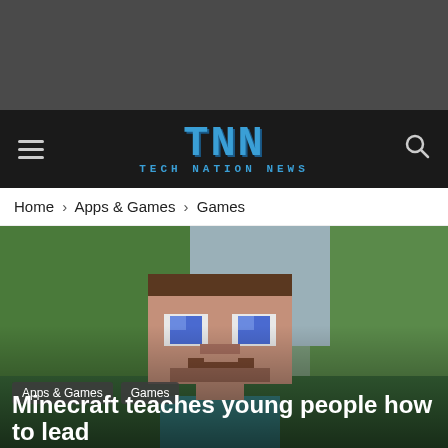[Figure (other): Gray advertisement banner at top of page]
TNN TECH NATION NEWS
Home › Apps & Games › Games
[Figure (photo): Photo of a person wearing a large Minecraft character (Steve) blockhead costume/mask outdoors with trees in background. Tags: Apps & Games, Games. Article title: Minecraft teaches young people how to lead. Byline: By Newsroom - July 19, 2019 👁 899]